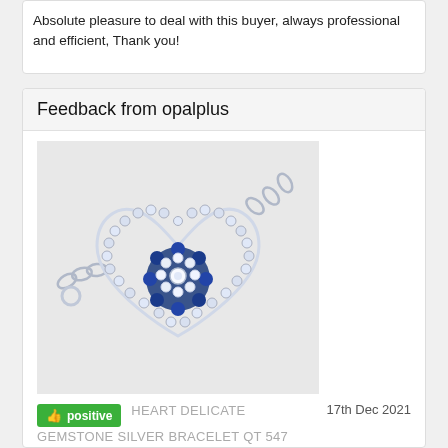Absolute pleasure to deal with this buyer, always professional and efficient, Thank you!
Feedback from opalplus
[Figure (photo): Photo of a silver heart-shaped bracelet with blue and white gemstones arranged in a flower/eye pattern in the center of the heart, on a silver chain.]
positive   HEART DELICATE GEMSTONE SILVER BRACELET QT 547   17th Dec 2021
Absolute pleasure to deal with this buyer, always professional and efficient, Thank you!